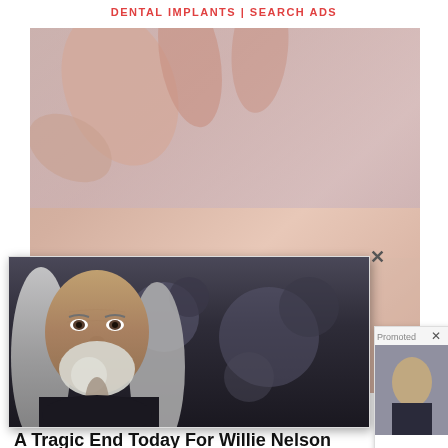DENTAL IMPLANTS | SEARCH ADS
[Figure (photo): Close-up photo of fingers touching skin with a small mole visible on the skin surface, pinkish-beige tones]
[Figure (photo): Popup card showing an elderly man with long gray hair, a white beard, wearing a black jacket — Willie Nelson. Background is dark/bokeh.]
A Tragic End Today For Willie Nelson
[Figure (photo): Promoted ad card showing a woman in a dark blazer smiling, with partial text: 's Fear This Out — before It's']